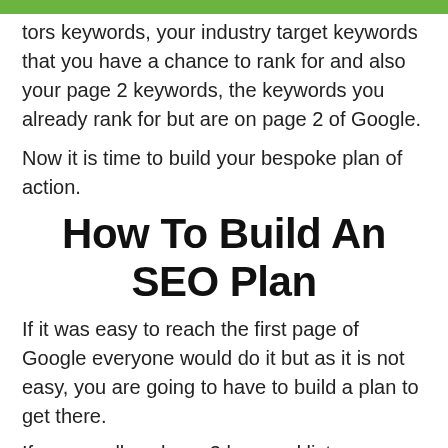You will have your competitors keywords, your industry target keywords that you have a chance to rank for and also your page 2 keywords, the keywords you already rank for but are on page 2 of Google.
Now it is time to build your bespoke plan of action.
How To Build An SEO Plan
If it was easy to reach the first page of Google everyone would do it but as it is not easy, you are going to have to build a plan to get there.
If you recall we have 3 keyword lists: